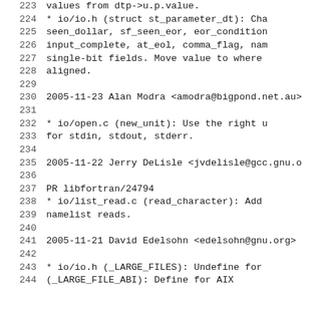223     values from dtp->u.p.value.
224         * io/io.h (struct st_parameter_dt): Cha
225         seen_dollar, sf_seen_eor, eor_condition
226         input_complete, at_eol, comma_flag, nam
227         single-bit fields.  Move value to where
228         aligned.
229
230 2005-11-23  Alan Modra  <amodra@bigpond.net.au>
231
232         * io/open.c (new_unit): Use the right u
233         for stdin, stdout, stderr.
234
235 2005-11-22  Jerry DeLisle  <jvdelisle@gcc.gnu.o
236
237         PR libfortran/24794
238         * io/list_read.c (read_character): Add
239         namelist reads.
240
241 2005-11-21  David Edelsohn  <edelsohn@gnu.org>
242
243         * io/io.h (_LARGE_FILES): Undefine for
244         (_LARGE_FILE_ABI): Define for AIX